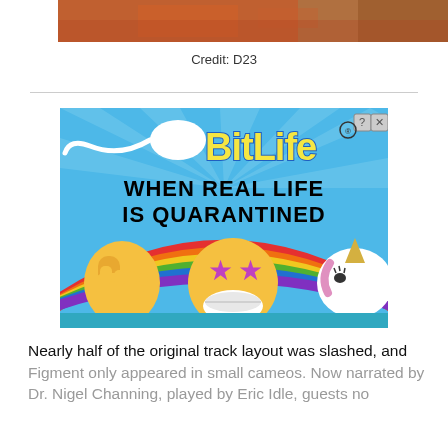[Figure (photo): Partial photo strip at top showing what appears to be an outdoor scene with reddish-brown and warm colors]
Credit: D23
[Figure (screenshot): BitLife advertisement with blue sky background, sperm cell graphic, 'BitLife' logo in yellow, text reading 'WHEN REAL LIFE IS QUARANTINED', emoji characters including star-eyed face with mask, thumbs up, and a unicorn, with rainbow colors. Has close/info buttons in top right corner.]
Nearly half of the original track layout was slashed, and Figment only appeared in small cameos. Now narrated by Dr. Nigel Channing, played by Eric Idle, guests no